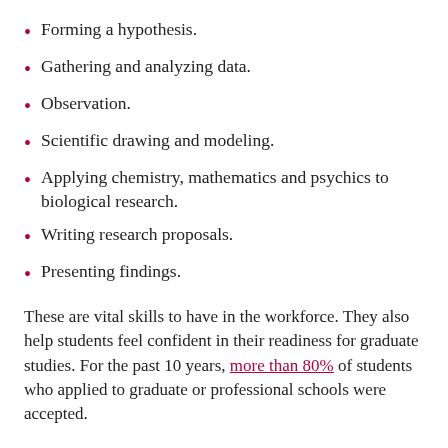Forming a hypothesis.
Gathering and analyzing data.
Observation.
Scientific drawing and modeling.
Applying chemistry, mathematics and psychics to biological research.
Writing research proposals.
Presenting findings.
These are vital skills to have in the workforce. They also help students feel confident in their readiness for graduate studies. For the past 10 years, more than 80% of students who applied to graduate or professional schools were accepted.
5. You'll be able to make an excellent